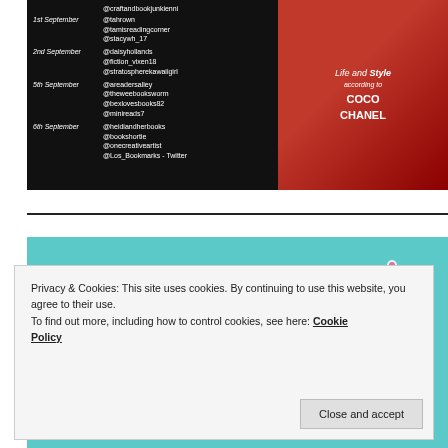[Figure (infographic): Dark background blog tour schedule image with dates and social media handles on the left and a red book cover graphic on the right for a Coco Chanel book]
[Figure (infographic): Teal Love Books Tours banner with bold black text and illustrated bird graphic, showing 31st August schedule entry at bottom]
Privacy & Cookies: This site uses cookies. By continuing to use this website, you agree to their use.
To find out more, including how to control cookies, see here: Cookie Policy